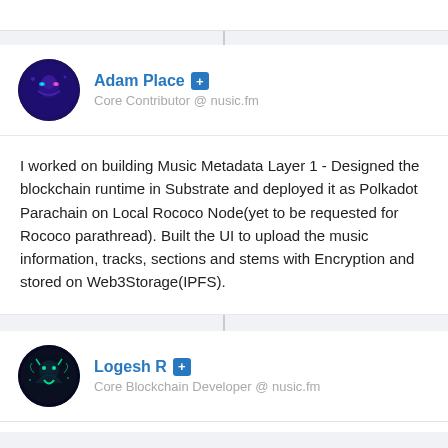[Figure (photo): Adam Place profile avatar - circular image with dark purple/navy galaxy-themed illustration]
Adam Place + Core Contributor @ nusic.fm
I worked on building Music Metadata Layer 1 - Designed the blockchain runtime in Substrate and deployed it as Polkadot Parachain on Local Rococo Node(yet to be requested for Rococo parathread). Built the UI to upload the music information, tracks, sections and stems with Encryption and stored on Web3Storage(IPFS).
[Figure (photo): Logesh R profile avatar - circular image with dark teal/green neon-themed illustration]
Logesh R + Core Blockchain Developer @ nusic.fm